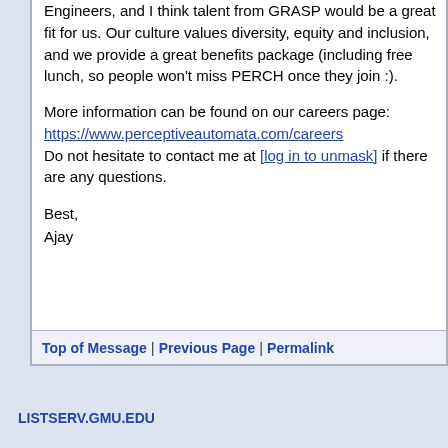Engineers, and I think talent from GRASP would be a great fit for us. Our culture values diversity, equity and inclusion, and we provide a great benefits package (including free lunch, so people won't miss PERCH once they join :).
More information can be found on our careers page: https://www.perceptiveautomata.com/careers Do not hesitate to contact me at [log in to unmask] if there are any questions.
Best,
Ajay
Top of Message | Previous Page | Permalink
LISTSERV.GMU.EDU